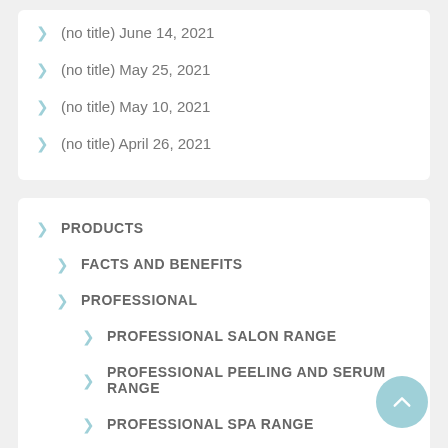(no title) June 14, 2021
(no title) May 25, 2021
(no title) May 10, 2021
(no title) April 26, 2021
PRODUCTS
FACTS AND BENEFITS
PROFESSIONAL
PROFESSIONAL SALON RANGE
PROFESSIONAL PEELING AND SERUM RANGE
PROFESSIONAL SPA RANGE
HOME CARE
CONCERT KIT